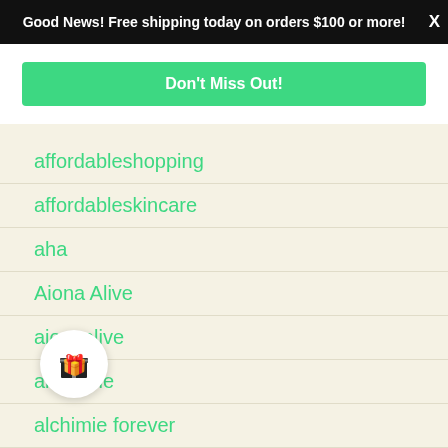Good News! Free shipping today on orders $100 or more! X
Don't Miss Out!
affordableshopping
affordableskincare
aha
Aiona Alive
aionaalive
alchemie
alchimie forever
Allure Magazine
A[gift icon]e Data
animal-rights
animal testing